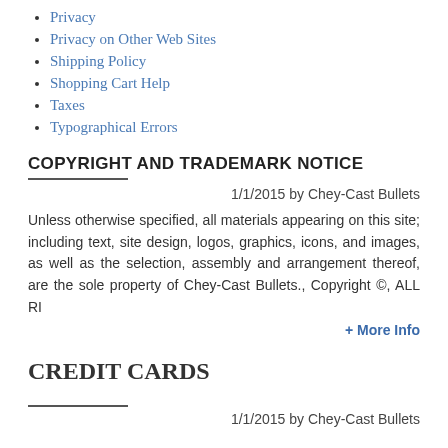Privacy
Privacy on Other Web Sites
Shipping Policy
Shopping Cart Help
Taxes
Typographical Errors
COPYRIGHT AND TRADEMARK NOTICE
1/1/2015 by Chey-Cast Bullets
Unless otherwise specified, all materials appearing on this site; including text, site design, logos, graphics, icons, and images, as well as the selection, assembly and arrangement thereof, are the sole property of Chey-Cast Bullets., Copyright ©, ALL RI
+ More Info
CREDIT CARDS
1/1/2015 by Chey-Cast Bullets